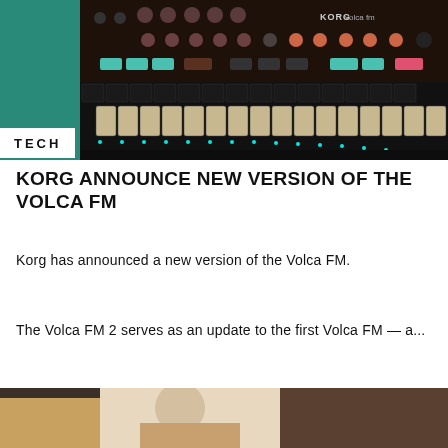[Figure (photo): Close-up photo of a Korg Volca FM synthesizer with dark body, pink and teal buttons, knobs, and sequencer keys, on a teal/green background]
TECH
KORG ANNOUNCE NEW VERSION OF THE VOLCA FM
Korg has announced a new version of the Volca FM.
The Volca FM 2 serves as an update to the first Volca FM — a...
[Figure (photo): Partial view of a person at the bottom of the page, cropped — appears to be a concert or event photo]